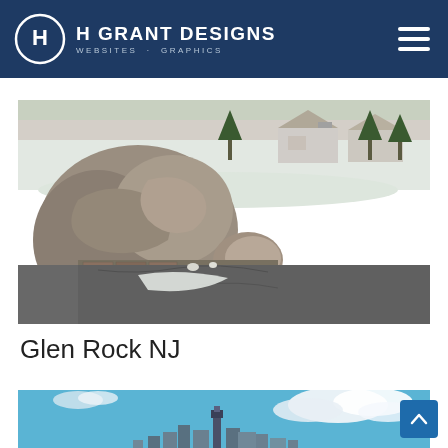H GRANT DESIGNS  WEBSITES · GRAPHICS
[Figure (photo): Photograph of large rocks and boulders on a paved area with snow, residential houses and trees in the background – Glen Rock NJ]
Glen Rock NJ
[Figure (photo): Photograph of a city skyline with blue sky and clouds – partial view]